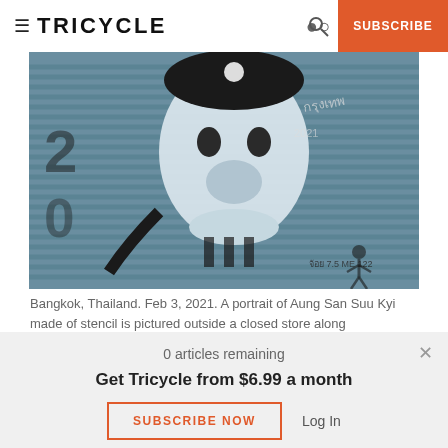≡ TRICYCLE | SUBSCRIBE
[Figure (photo): Graffiti stencil portrait of Aung San Suu Kyi on a metal shutter storefront in Bangkok, Thailand, Feb 3, 2021. Black and white stencil on blue-gray corrugated metal, surrounded by graffiti tags.]
Bangkok, Thailand. Feb 3, 2021. A portrait of Aung San Suu Kyi made of stencil is pictured outside a closed store along
0 articles remaining
Get Tricycle from $6.99 a month
SUBSCRIBE NOW   Log In
othing is permanent, so everything is